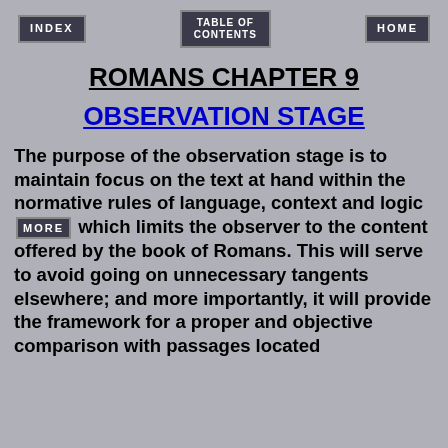INDEX   TABLE OF CONTENTS   HOME
ROMANS CHAPTER 9
OBSERVATION STAGE
The purpose of the observation stage is to maintain focus on the text at hand within the normative rules of language, context and logic MORE which limits the observer to the content offered by the book of Romans. This will serve to avoid going on unnecessary tangents elsewhere; and more importantly, it will provide the framework for a proper and objective comparison with passages located elsewhere in Scripture.